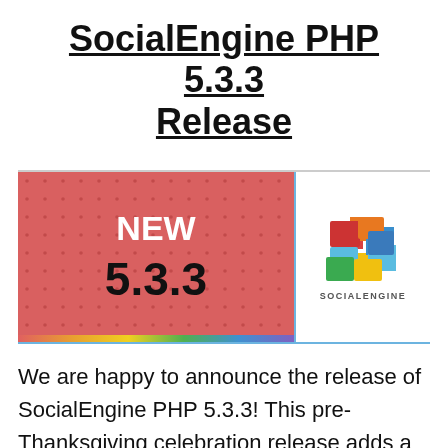SocialEngine PHP 5.3.3 Release
[Figure (illustration): Promotional banner with pink/red background and dot pattern showing 'NEW' in white bold text and '5.3.3' in black bold text on the left, and the SocialEngine logo (colorful S-shape) with 'SOCIALENGINE' text on the right white panel.]
We are happy to announce the release of SocialEngine PHP 5.3.3! This pre-Thanksgiving celebration release adds a few small improvements and fixes bugs. We are